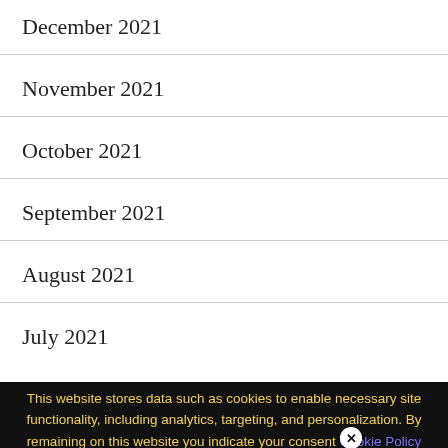December 2021
November 2021
October 2021
September 2021
August 2021
July 2021
We use cookies on our website to give you the most relevant experience by remembering your preferences and repeat visits. By clicking “Accept All”, you consent to the use of ALL the controlled consent.
This website stores data such as cookies to enable necessary site functionality, including analytics, targeting, and personalization. By remaining on this website you indicate your consent Cookie Policy